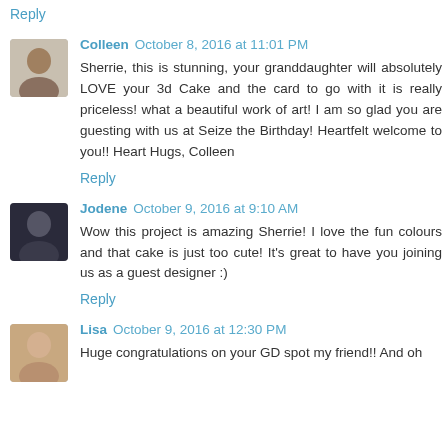Reply
Colleen  October 8, 2016 at 11:01 PM
Sherrie, this is stunning, your granddaughter will absolutely LOVE your 3d Cake and the card to go with it is really priceless! what a beautiful work of art! I am so glad you are guesting with us at Seize the Birthday! Heartfelt welcome to you!! Heart Hugs, Colleen
Reply
Jodene  October 9, 2016 at 9:10 AM
Wow this project is amazing Sherrie! I love the fun colours and that cake is just too cute! It's great to have you joining us as a guest designer :)
Reply
Lisa  October 9, 2016 at 12:30 PM
Huge congratulations on your GD spot my friend!! And oh